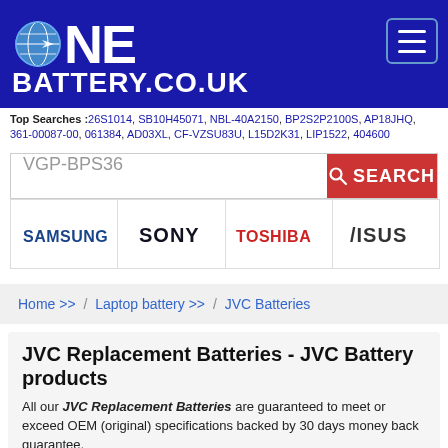[Figure (logo): OneBattery.co.uk logo with globe icon on blue banner background with hamburger menu button]
Top Searches :26S1014, SB10H45071, NBL-40A2150, BP2S2P2100S, AP18JHQ, 361-00087-00, 061384, AD03XL, CF-VZSU83U, L15D2K31, LIP1522, 404600
[Figure (screenshot): Search bar with text VGP-BPS36 and red SEARCH button]
[Figure (logo): Brand logos strip: Samsung, Sony, Toshiba, Asus]
Home >> / Laptop battery >> / JVC Batteries
JVC Replacement Batteries - JVC Battery products
All our JVC Replacement Batteries are guaranteed to meet or exceed OEM (original) specifications backed by 30 days money back guarantee.
Utilizes state of the art printed circuit board (PCB) design to provide stable and safe performance.
Includes a 12-month free replacement warranty for manufacturer's defects.
Provides excellent discharge characteristics.
Undergone comprehensive quality testing throughout the manufacturing and assembly process.